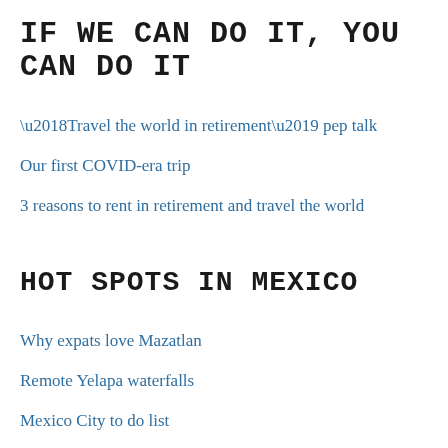IF WE CAN DO IT, YOU CAN DO IT
‘Travel the world in retirement’ pep talk
Our first COVID-era trip
3 reasons to rent in retirement and travel the world
HOT SPOTS IN MEXICO
Why expats love Mazatlan
Remote Yelapa waterfalls
Mexico City to do list